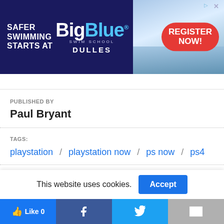[Figure (illustration): BigBlue Swim School advertisement banner with dark blue background, swim school logo, photo of indoor pool, and 'Register Now!' red button]
PUBLISHED BY
Paul Bryant
TAGS:
playstation / playstation now / ps now / ps4
5 YEARS AGO
RELATED POST
This website uses cookies.  Accept